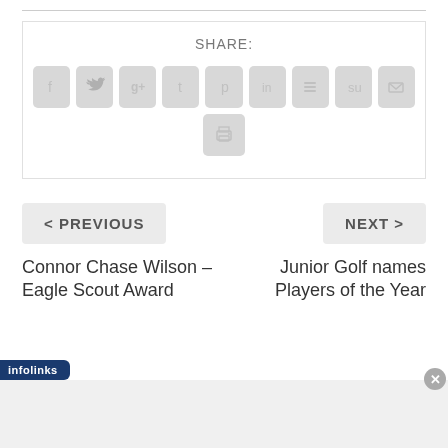SHARE:
[Figure (infographic): Social share buttons: Facebook, Twitter, Google+, Tumblr, Pinterest, LinkedIn, Buffer, StumbleUpon, Email, Print]
< PREVIOUS
NEXT >
Connor Chase Wilson – Eagle Scout Award
Junior Golf names Players of the Year
infolinks